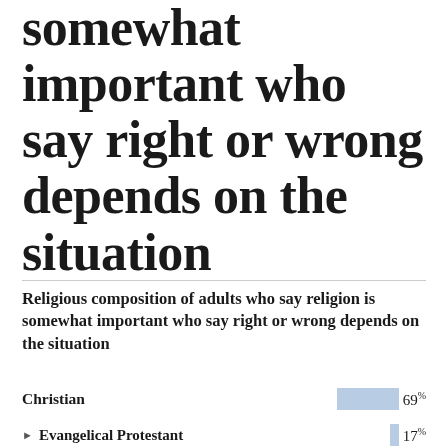somewhat important who say right or wrong depends on the situation
Religious composition of adults who say religion is somewhat important who say right or wrong depends on the situation
Christian 69%
Evangelical Protestant 17%